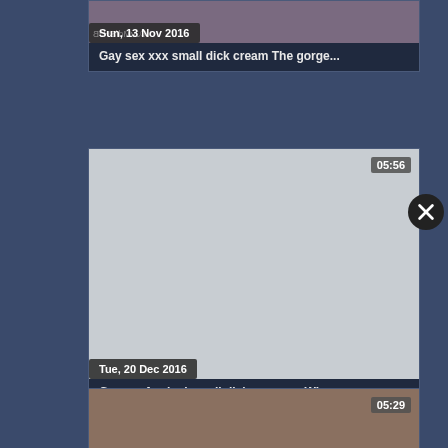[Figure (screenshot): Video thumbnail card 1 (partial, top): date badge 'Sun, 13 Nov 2016', title 'Gay sex xxx small dick cream The gorge...']
[Figure (screenshot): Video thumbnail card 2: duration '05:56', date badge 'Tue, 20 Dec 2016', title 'Group of naked small dick men gay When']
[Figure (screenshot): Video thumbnail card 3 (partial, bottom): duration '05:29']